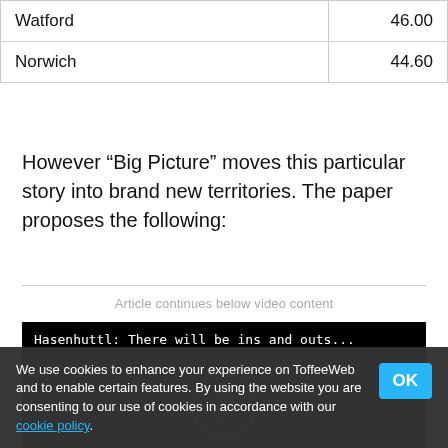|  |  |
| --- | --- |
| Watford | 46.00 |
| Norwich | 44.60 |
However “Big Picture” moves this particular story into brand new territories. The paper proposes the following:
Article continues below video content
[Figure (screenshot): Video player with black background. Title text reads: Hasenhuttl: There will be ins and outs... with a play button circle visible.]
We use cookies to enhance your experience on ToffeeWeb and to enable certain features. By using the website you are consenting to our use of cookies in accordance with our cookie policy.